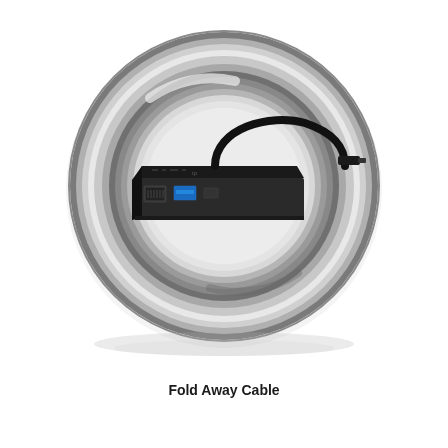[Figure (photo): A USB-C hub/docking station shown inside a large circular metallic ring frame. The hub is black and features multiple ports including an RJ-45 Ethernet port, a USB-A port (blue, USB 3.0), and additional ports on the front face. A fold-away USB-C cable is attached to the top of the device and extends to the right. The ring is silver/chrome-toned with a gradient effect, suggesting a product highlight or zoom-in feature.]
Fold Away Cable